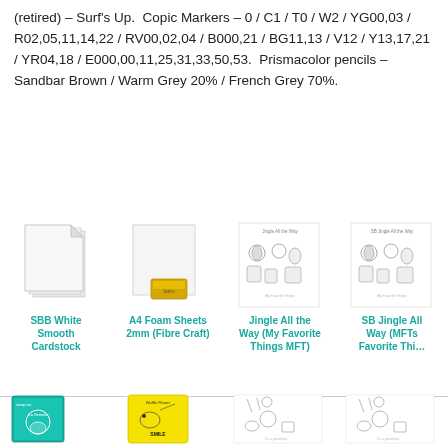(retired) – Surf's Up. Copic Markers – 0 / C1 / T0 / W2 / YG00,03 / R02,05,11,14,22 / RV00,02,04 / B000,21 / BG11,13 / V12 / Y13,17,21 / YR04,18 / E000,00,11,25,31,33,50,53. Prismacolor pencils – Sandbar Brown / Warm Grey 20% / French Grey 70%.
[Figure (other): Product grid row 1: SBB White Smooth Cardstock, A4 Foam Sheets 2mm (Fibre Craft), Jingle All the Way (My Favorite Things MFT), SB Jingle All Way (MFTs Favorite Things)]
[Figure (other): Product grid row 2: stamp sets and craft supplies (partially visible)]